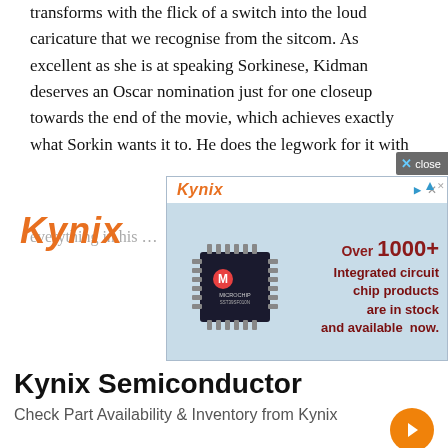transforms with the flick of a switch into the loud caricature that we recognise from the sitcom. As excellent as she is at speaking Sorkinese, Kidman deserves an Oscar nomination just for one closeup towards the end of the movie, which achieves exactly what Sorkin wants it to. He does the legwork for it with everything in his writing arsenal, but relies entirely o...
[Figure (infographic): Kynix Semiconductor advertisement banner. Left side shows Kynix logo in orange italic font. Center shows a Microchip brand integrated circuit chip image on blue background. Right side shows text: 'Over 1000+ Integrated circuit chip products are in stock and available now.' in dark red bold text.]
Kynix Semiconductor
Check Part Availability & Inventory from Kynix